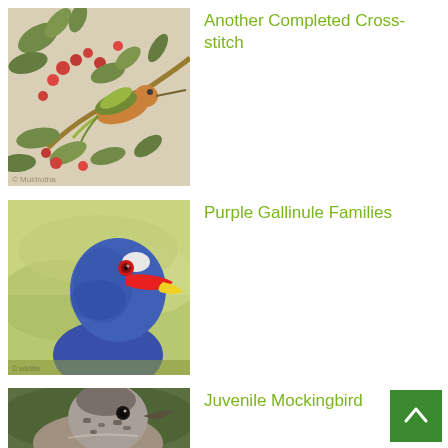[Figure (photo): Cross-stitch embroidery of a hummingbird perched on a branch with red berries and green leaves]
Another Completed Cross-stitch
[Figure (photo): Close-up photograph of a Purple Gallinule bird head showing blue plumage, red and yellow beak with white shield]
Purple Gallinule Families
[Figure (photo): Close-up photograph of a juvenile mockingbird with speckled brown and white feathers]
Juvenile Mockingbird